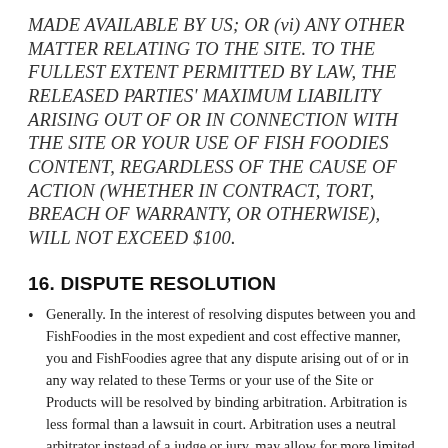MADE AVAILABLE BY US; OR (vi) ANY OTHER MATTER RELATING TO THE SITE. TO THE FULLEST EXTENT PERMITTED BY LAW, THE RELEASED PARTIES' MAXIMUM LIABILITY ARISING OUT OF OR IN CONNECTION WITH THE SITE OR YOUR USE OF FISH FOODIES CONTENT, REGARDLESS OF THE CAUSE OF ACTION (WHETHER IN CONTRACT, TORT, BREACH OF WARRANTY, OR OTHERWISE), WILL NOT EXCEED $100.
16. DISPUTE RESOLUTION
Generally. In the interest of resolving disputes between you and FishFoodies in the most expedient and cost effective manner, you and FishFoodies agree that any dispute arising out of or in any way related to these Terms or your use of the Site or Products will be resolved by binding arbitration. Arbitration is less formal than a lawsuit in court. Arbitration uses a neutral arbitrator instead of a judge or jury, may allow for more limited discovery than in court, and can be subject to very limited review by courts. Arbitrators can